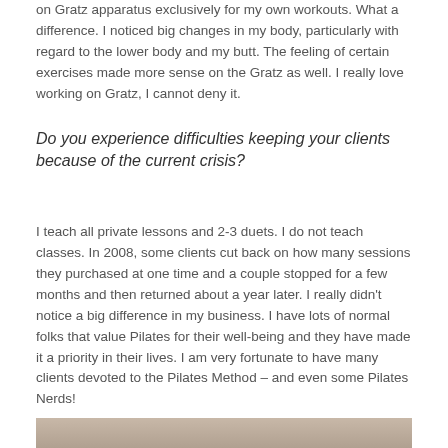on Gratz apparatus exclusively for my own workouts. What a difference. I noticed big changes in my body, particularly with regard to the lower body and my butt. The feeling of certain exercises made more sense on the Gratz as well. I really love working on Gratz, I cannot deny it.
Do you experience difficulties keeping your clients because of the current crisis?
I teach all private lessons and 2-3 duets. I do not teach classes. In 2008, some clients cut back on how many sessions they purchased at one time and a couple stopped for a few months and then returned about a year later. I really didn't notice a big difference in my business. I have lots of normal folks that value Pilates for their well-being and they have made it a priority in their lives. I am very fortunate to have many clients devoted to the Pilates Method – and even some Pilates Nerds!
[Figure (photo): Partial image visible at bottom of page, cropped.]